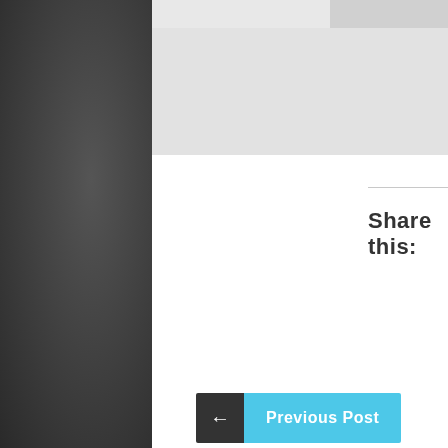[Figure (screenshot): Partial top image, gray placeholder area visible at top of content]
Share this:
Facebook
Twitter
Print
Email
More
Previous Post
Next Post